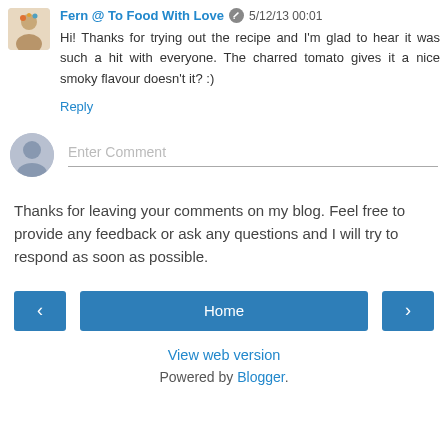Fern @ To Food With Love  5/12/13 00:01
Hi! Thanks for trying out the recipe and I'm glad to hear it was such a hit with everyone. The charred tomato gives it a nice smoky flavour doesn't it? :)
Reply
[Figure (other): Enter Comment input field with user avatar]
Thanks for leaving your comments on my blog. Feel free to provide any feedback or ask any questions and I will try to respond as soon as possible.
[Figure (other): Navigation bar with left arrow button, Home button, and right arrow button]
View web version
Powered by Blogger.